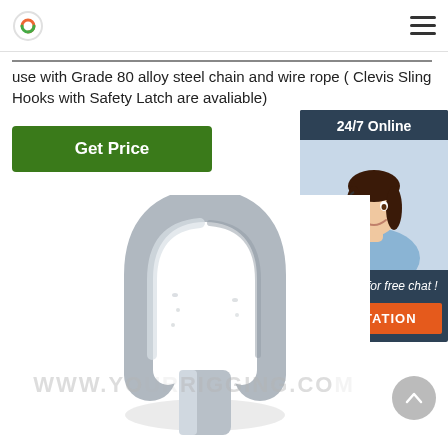Logo and navigation menu
use with Grade 80 alloy steel chain and wire rope ( Clevis Sling Hooks with Safety Latch are avaliable)
Get Price
[Figure (photo): Customer service representative with headset smiling, with '24/7 Online' header, 'Click here for free chat!' text, and orange QUOTATION button]
[Figure (photo): Close-up product photo of a galvanized steel clevis / eye hook fitting showing the oval ring aperture]
WWW.YOURRIGGING.COM